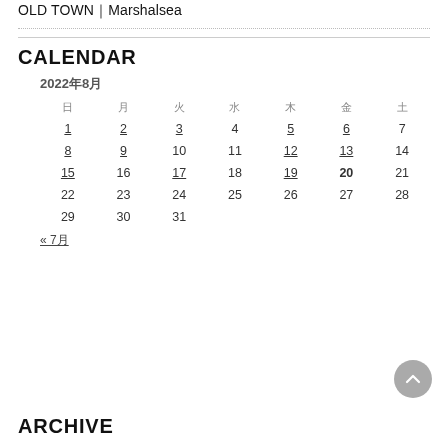OLD TOWN｜Marshalsea
CALENDAR
| 日 | 月 | 火 | 水 | 木 | 金 | 土 |
| --- | --- | --- | --- | --- | --- | --- |
| 1 | 2 | 3 | 4 | 5 | 6 | 7 |
| 8 | 9 | 10 | 11 | 12 | 13 | 14 |
| 15 | 16 | 17 | 18 | 19 | 20 | 21 |
| 22 | 23 | 24 | 25 | 26 | 27 | 28 |
| 29 | 30 | 31 |  |  |  |  |
« 7月
ARCHIVE